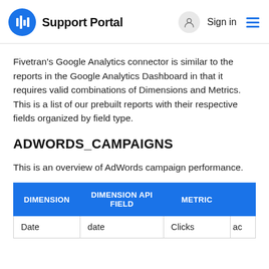Support Portal  Sign in
Fivetran's Google Analytics connector is similar to the reports in the Google Analytics Dashboard in that it requires valid combinations of Dimensions and Metrics. This is a list of our prebuilt reports with their respective fields organized by field type.
ADWORDS_CAMPAIGNS
This is an overview of AdWords campaign performance.
| DIMENSION | DIMENSION API FIELD | METRIC |  |
| --- | --- | --- | --- |
| Date | date | Clicks | ac |